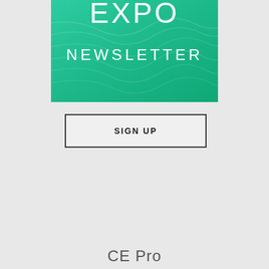[Figure (illustration): Expo Newsletter banner with teal/green gradient background and wave texture. Text reads 'EXPO' in large white letters at top (partially cropped) and 'NEWSLETTER' below in white.]
SIGN UP
CE Pro